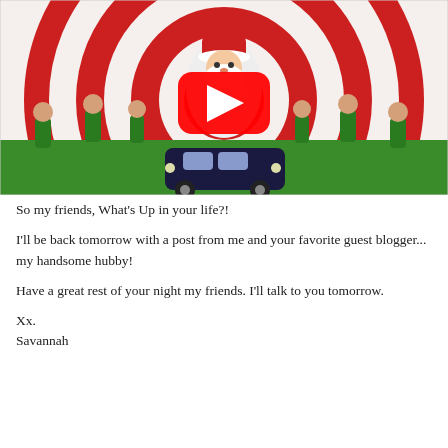[Figure (screenshot): A YouTube video thumbnail showing a colorful Christmas-themed animated scene with a Santa Claus character in the center surrounded by elves and a swirling red and white spiral background, with dancing elf characters on green ground and a dark blue car in the foreground. A large YouTube play button (red circle with white triangle) is overlaid in the center.]
So my friends, What's Up in your life?!
I'll be back tomorrow with a post from me and your favorite guest blogger... my handsome hubby!
Have a great rest of your night my friends. I'll talk to you tomorrow.
Xx.
Savannah